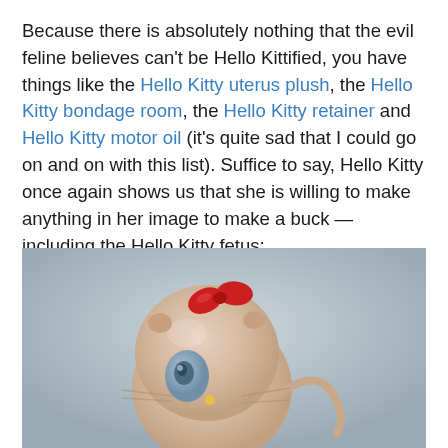Because there is absolutely nothing that the evil feline believes can't be Hello Kittified, you have things like the Hello Kitty uterus plush, the Hello Kitty bondage room, the Hello Kitty retainer and Hello Kitty motor oil (it's quite sad that I could go on and on with this list). Suffice to say, Hello Kitty once again shows us that she is willing to make anything in her image to make a buck — including the Hello Kitty fetus:
[Figure (photo): A ceramic or resin Hello Kitty fetus figurine with a large round pinkish-beige head, a blue eye, a small yellow nose, a red bow on top, and a curly tail/umbilical cord on the right side, photographed against a light grey-blue background.]